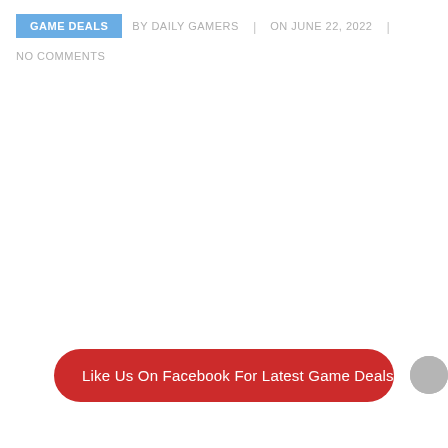GAME DEALS | BY DAILY GAMERS | ON JUNE 22, 2022 |
NO COMMENTS
Like Us On Facebook For Latest Game Deals